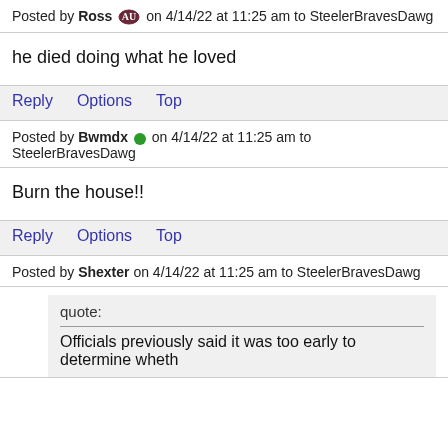Posted by Ross [auburn icon] on 4/14/22 at 11:25 am to SteelerBravesDawg
he died doing what he loved
Reply   Options   Top
Posted by Bwmdx [green dot] on 4/14/22 at 11:25 am to SteelerBravesDawg
Burn the house!!
Reply   Options   Top
Posted by Shexter on 4/14/22 at 11:25 am to SteelerBravesDawg
quote:
Officials previously said it was too early to determine wheth